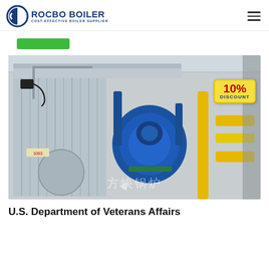ROCBO BOILER — COST-EFFECTIVE BOILER SUPPLIER
[Figure (photo): Industrial boiler unit in a factory: a large cylindrical grey boiler body on the left with corrugated panels, a large blue burner/motor assembly in the center, yellow gas pipes on the right, green straps, and a watermark reading 方快锅炉. A yellow discount tag in the upper right reads 10% DISCOUNT.]
U.S. Department of Veterans Affairs